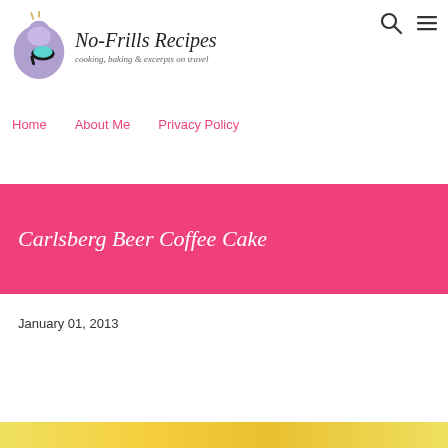[Figure (logo): No-Frills Recipes logo with purple apron icon and cursive text reading 'No-Frills Recipes' with tagline 'cooking, baking & excerpts on travel']
[Figure (other): Search icon (magnifying glass) and hamburger menu icon in top right corner]
Home   About Me   Privacy Policy
Carlsberg Beer Coffee Cake
January 01, 2013